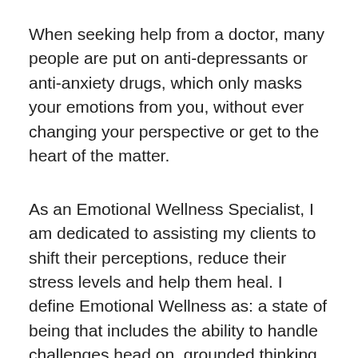When seeking help from a doctor, many people are put on anti-depressants or anti-anxiety drugs, which only masks your emotions from you, without ever changing your perspective or get to the heart of the matter.
As an Emotional Wellness Specialist, I am dedicated to assisting my clients to shift their perceptions, reduce their stress levels and help them heal. I define Emotional Wellness as: a state of being that includes the ability to handle challenges head on, grounded thinking, optimism, effective communication and self-expression.